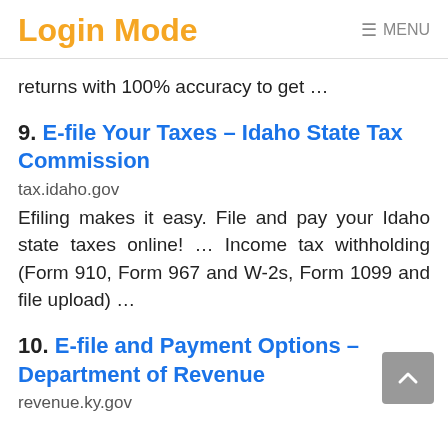Login Mode  ≡ MENU
returns with 100% accuracy to get …
9. E-file Your Taxes – Idaho State Tax Commission
tax.idaho.gov
Efiling makes it easy. File and pay your Idaho state taxes online! … Income tax withholding (Form 910, Form 967 and W-2s, Form 1099 and file upload) …
10. E-file and Payment Options – Department of Revenue
revenue.ky.gov